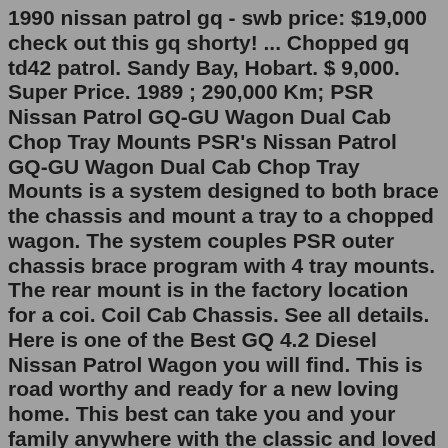1990 nissan patrol gq - swb price: $19,000 check out this gq shorty! ... Chopped gq td42 patrol. Sandy Bay, Hobart. $ 9,000. Super Price. 1989 ; 290,000 Km; PSR Nissan Patrol GQ-GU Wagon Dual Cab Chop Tray Mounts PSR's Nissan Patrol GQ-GU Wagon Dual Cab Chop Tray Mounts is a system designed to both brace the chassis and mount a tray to a chopped wagon. The system couples PSR outer chassis brace program with 4 tray mounts. The rear mount is in the factory location for a coi. Coil Cab Chassis. See all details. Here is one of the Best GQ 4.2 Diesel Nissan Patrol Wagon you will find. This is road worthy and ready for a new loving home. This best can take you and your family anywhere with the classic and loved GQ look. A fully capable off-road 4WD. Complete with UHF, navigation, snork... $29,990 $34,990. Nissan Patrol Gu & gq dual cab chops buys sells swaps - Facebook See 109 results for Nissan Patrol td42 for sale at the best prices, with the cheapest used car starting from $ 300. ... Td42 gq patrol 1996 st rd28 converted to td42. ... May 01, 2011 ; 1991 Nissan